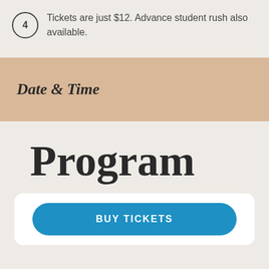4  Tickets are just $12. Advance student rush also available.
Date & Time
Program
BUY TICKETS